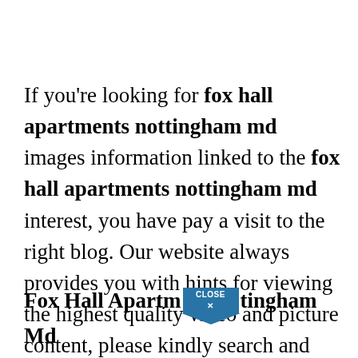If you're looking for fox hall apartments nottingham md images information linked to the fox hall apartments nottingham md interest, you have pay a visit to the right blog. Our website always provides you with hints for viewing the highest quality video and picture content, please kindly search and locate more informative video articles and images that match your interests.
Fox Hall Apartm... [CLOSE X] ...tingham Md